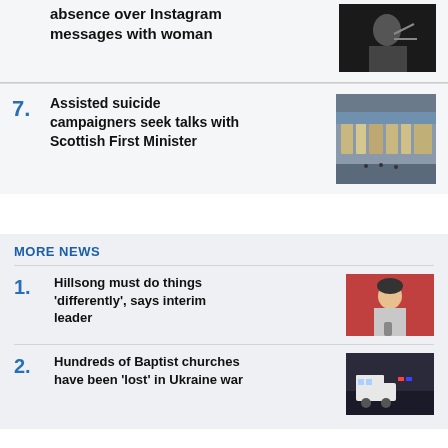absence over Instagram messages with woman
[Figure (photo): Person gesturing, dark background]
7. Assisted suicide campaigners seek talks with Scottish First Minister
[Figure (photo): Aerial view of Scottish city street]
MORE NEWS
1. Hillsong must do things 'differently', says interim leader
[Figure (photo): Person with microphone, red background]
2. Hundreds of Baptist churches have been 'lost' in Ukraine war
[Figure (photo): Emergency vehicles, dark scene]